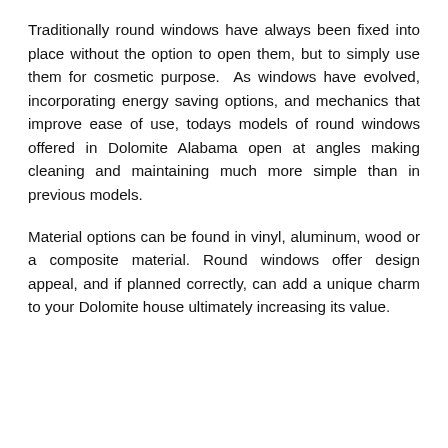Traditionally round windows have always been fixed into place without the option to open them, but to simply use them for cosmetic purpose. As windows have evolved, incorporating energy saving options, and mechanics that improve ease of use, todays models of round windows offered in Dolomite Alabama open at angles making cleaning and maintaining much more simple than in previous models.
Material options can be found in vinyl, aluminum, wood or a composite material. Round windows offer design appeal, and if planned correctly, can add a unique charm to your Dolomite house ultimately increasing its value.